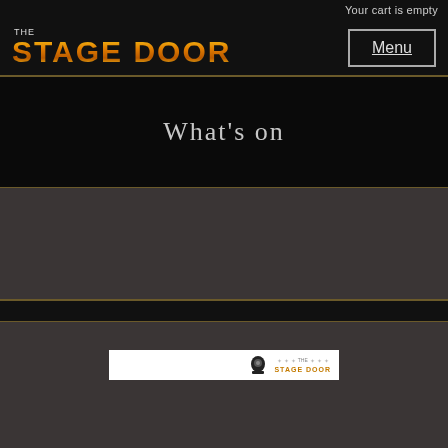Your cart is empty
[Figure (logo): The Stage Door logo with golden glittery text on black background, plus Menu button]
What's on
[Figure (screenshot): Small footer image bar with Stage Door branding icon strip on white background]